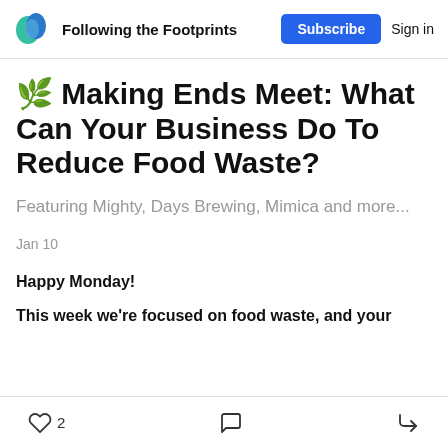Following the Footprints | Subscribe | Sign in
🌿 Making Ends Meet: What Can Your Business Do To Reduce Food Waste?
Featuring Mighty, Days Brewing, Mimica and more...
Jan 10
Happy Monday!
This week we're focused on food waste, and your
2 likes · comment · share